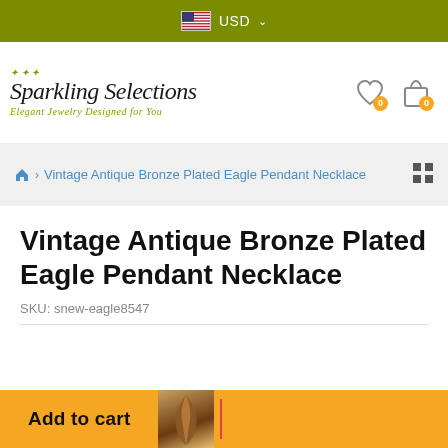USD
[Figure (logo): Sparkling Selections logo with ornamental flourish and tagline 'Elegant Jewelry Designed for You']
Vintage Antique Bronze Plated Eagle Pendant Necklace
Vintage Antique Bronze Plated Eagle Pendant Necklace
SKU: snew-eagle8547
Add to cart